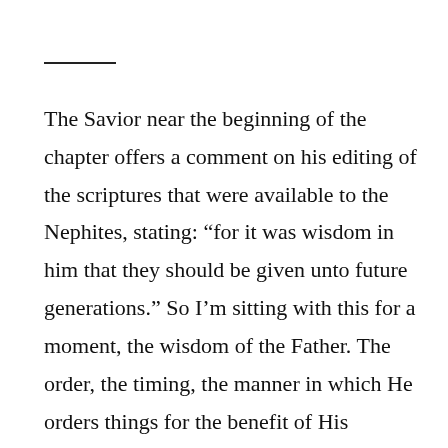The Savior near the beginning of the chapter offers a comment on his editing of the scriptures that were available to the Nephites, stating: “for it was wisdom in him that they should be given unto future generations.” So I’m sitting with this for a moment, the wisdom of the Father. The order, the timing, the manner in which He orders things for the benefit of His children. This causes me to